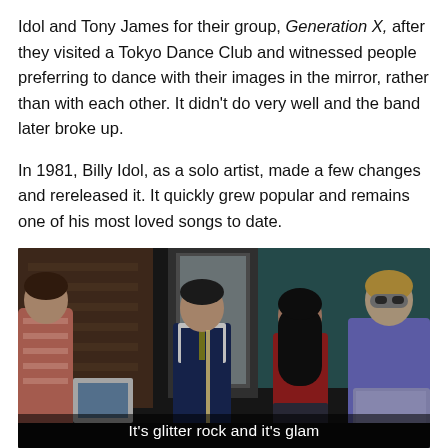Idol and Tony James for their group, Generation X, after they visited a Tokyo Dance Club and witnessed people preferring to dance with their images in the mirror, rather than with each other. It didn't do very well and the band later broke up.
In 1981, Billy Idol, as a solo artist, made a few changes and rereleased it. It quickly grew popular and remains one of his most loved songs to date.
[Figure (screenshot): A movie or TV scene showing four children/teenagers. One boy in a school uniform with a white shirt and vest stands center-left near a mirror/locker. A girl in a red top stands center-right. A child dressed in glam/glitter rock costume with silver outfit and eye mask stands far right. Another child is partially visible at far left. The scene appears to be in a school or backstage setting. Subtitle text reads: It's glitter rock and it's glam]